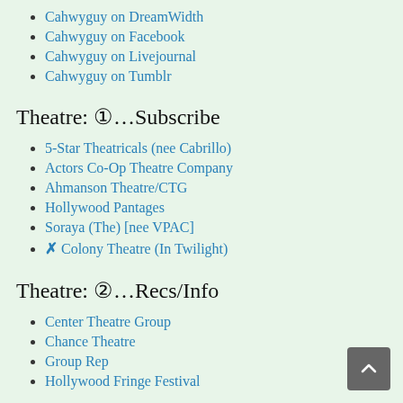Cahwyguy on DreamWidth
Cahwyguy on Facebook
Cahwyguy on Livejournal
Cahwyguy on Tumblr
Theatre: ①…Subscribe
5-Star Theatricals (nee Cabrillo)
Actors Co-Op Theatre Company
Ahmanson Theatre/CTG
Hollywood Pantages
Soraya (The) [nee VPAC]
✗ Colony Theatre (In Twilight)
Theatre: ②…Recs/Info
Center Theatre Group
Chance Theatre
Group Rep
Hollywood Fringe Festival